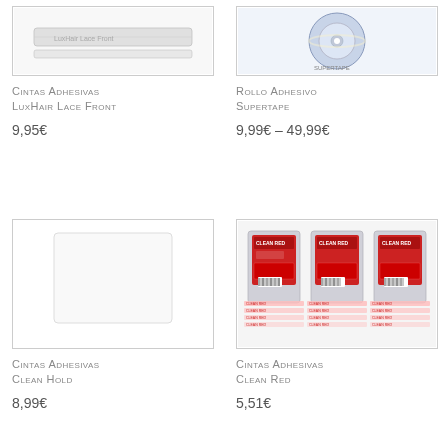[Figure (photo): Product image of Cintas Adhesivas LuxHair Lace Front tape rolls]
[Figure (photo): Product image of Rollo Adhesivo Supertape on a CD-like roll]
Cintas Adhesivas LuxHair Lace Front
9,95€
Rollo Adhesivo Supertape
9,99€ – 49,99€
[Figure (photo): Product image of Cintas Adhesivas Clean Hold (blank white packaging)]
[Figure (photo): Product image of Cintas Adhesivas Clean Red showing three red packages with tape strips]
Cintas Adhesivas Clean Hold
8,99€
Cintas Adhesivas Clean Red
5,51€